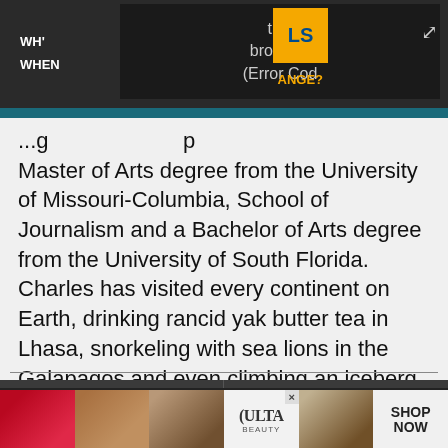[Figure (screenshot): Dark browser top bar with video player showing error message 'browser. (Error Cod' and partial labels 'WH', 'WHEN', 'ANGE?' and a yellow/blue LS logo, plus expand icon]
Master of Arts degree from the University of Missouri-Columbia, School of Journalism and a Bachelor of Arts degree from the University of South Florida. Charles has visited every continent on Earth, drinking rancid yak butter tea in Lhasa, snorkeling with sea lions in the Galapagos and even climbing an iceberg in Antarctica.
MORE ABOUT...
LATEST
[Figure (photo): Two thumbnail images side by side: left shows green and purple plants/flowers, right shows interior scene with brown tones]
[Figure (photo): Ulta Beauty advertisement banner with makeup imagery and SHOP NOW call to action]